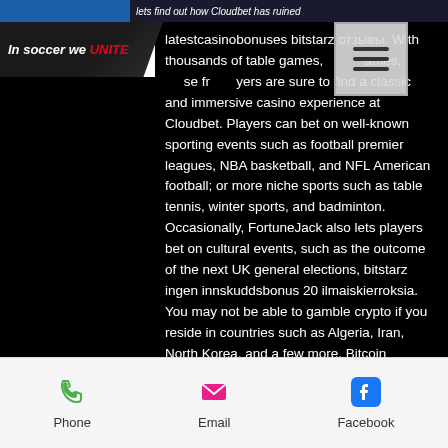lets find out how Cloudbet has ruined latestcasinobonus bitstarz отзывы
[Figure (logo): In soccer we UNITE logo - white italic text with red UNITE on dark background]
[Figure (other): Hamburger menu icon - three horizontal lines on light grey square background]
latestcasinobonuses bitstarz отзывы. With thousands of table games, games, se free players are sure to find a classic and immersive casino experience at Cloudbet. Players can bet on well-known sporting events such as football premier leagues, NBA basketball, and NFL American football; or more niche sports such as table tennis, winter sports, and badminton. Occasionally, FortuneJack also lets players bet on cultural events, such as the outcome of the next UK general elections, bitstarz ingen innskuddsbonus 20 ilmaiskierroksia. You may not be able to gamble crypto if you reside in countries such as Algeria, Iran, North Korea, and a few more. Bitcoin Sportsbook Rating : 8, bitstarz
Phone   Email   Facebook